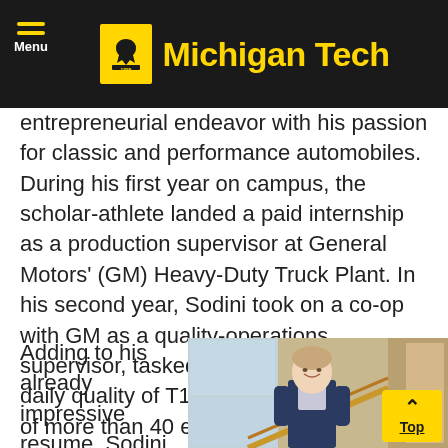Michigan Tech
entrepreneurial endeavor with his passion for classic and performance automobiles. During his first year on campus, the scholar-athlete landed a paid internship as a production supervisor at General Motors' (GM) Heavy-Duty Truck Plant. In his second year, Sodini took on a co-op with GM as a quality-operations supervisor, tasked with controlling the daily quality of T1 HD trucks with his team of more than 40 employees.
Adding to his already impressive resume, Sodini
[Figure (photo): Young man smiling on a staircase with railing, inside a campus building with large windows in the background.]